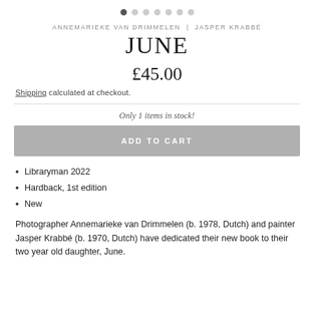[Figure (other): Pagination dots navigation: 7 dots, first one filled/active, rest empty]
ANNEMARIEKE VAN DRIMMELEN | JASPER KRABBÉ
JUNE
£45.00
Shipping calculated at checkout.
Only 1 items in stock!
ADD TO CART
Libraryman 2022
Hardback, 1st edition
New
Photographer Annemarieke van Drimmelen (b. 1978, Dutch) and painter Jasper Krabbé (b. 1970, Dutch) have dedicated their new book to their two year old daughter, June.